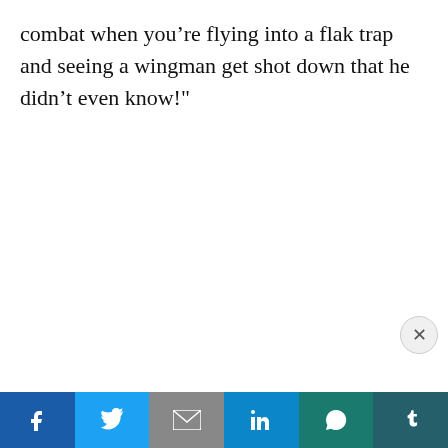combat when you’re flying into a flak trap and seeing a wingman get shot down that he didn’t even know!"
[Figure (screenshot): Advertisement banner for bansaltravels.com Airlines Phone Reservations with an OPEN button, X and play icons, and a horizontal blue separator line with a close button]
[Figure (infographic): Social sharing bar with Facebook, Twitter, Gmail, LinkedIn, WhatsApp, and Tumblr icons]